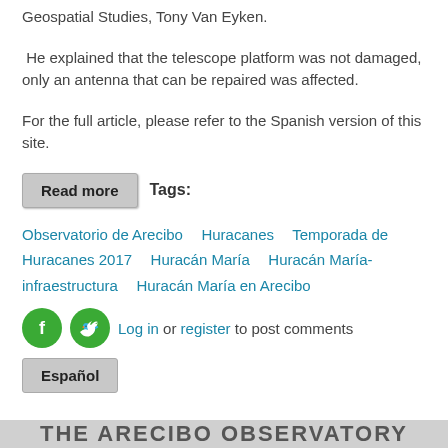Geospatial Studies, Tony Van Eyken.
He explained that the telescope platform was not damaged, only an antenna that can be repaired was affected.
For the full article, please refer to the Spanish version of this site.
Read more   Tags:
Observatorio de Arecibo   Huracanes   Temporada de Huracanes 2017   Huracán María   Huracán María-infraestructura   Huracán María en Arecibo
Log in or register to post comments
Español
THE ARECIBO OBSERVATORY